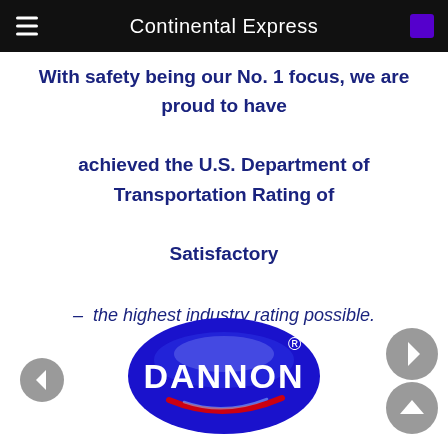Continental Express
With safety being our No. 1 focus, we are proud to have achieved the U.S. Department of Transportation Rating of Satisfactory – the highest industry rating possible.
[Figure (logo): Dannon logo — blue oval badge with white DANNON text, red swoosh, registered trademark symbol]